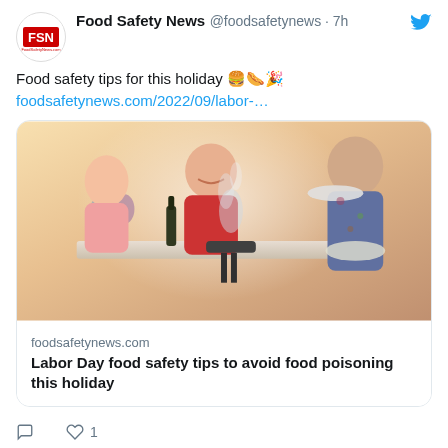Food Safety News @foodsafetynews · 7h
Food safety tips for this holiday 🍔🌭🎉
foodsafetynews.com/2022/09/labor-…
[Figure (photo): People at an outdoor barbecue gathering, smiling, with a grill emitting smoke, wine glasses on the table, and a server carrying plates.]
foodsafetynews.com
Labor Day food safety tips to avoid food poisoning this holiday
♡ 1
View more on Twitter